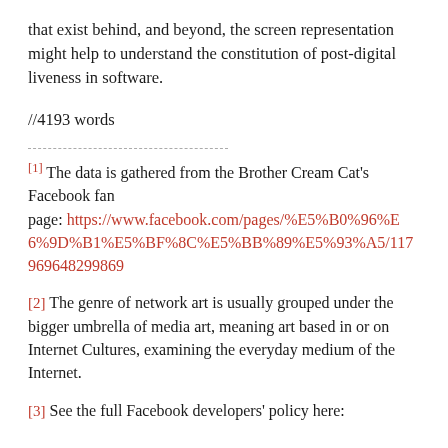that exist behind, and beyond, the screen representation might help to understand the constitution of post-digital liveness in software.
//4193 words
[1] The data is gathered from the Brother Cream Cat's Facebook fan page: https://www.facebook.com/pages/%E5%B0%96%E6%9D%B1%E5%BF%8C%E5%BB%89%E5%93%A5/117969648299869
[2] The genre of network art is usually grouped under the bigger umbrella of media art, meaning art based in or on Internet Cultures, examining the everyday medium of the Internet.
[3] See the full Facebook developers' policy here: